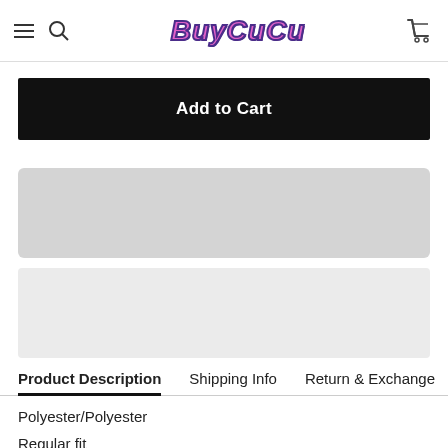BuyCuCu - hamburger menu, search, cart icons
Add to Cart
[Figure (other): Gray placeholder box 1]
[Figure (other): Gray placeholder box 2]
Product Description | Shipping Info | Return & Exchange
Polyester/Polyester
Regular fit